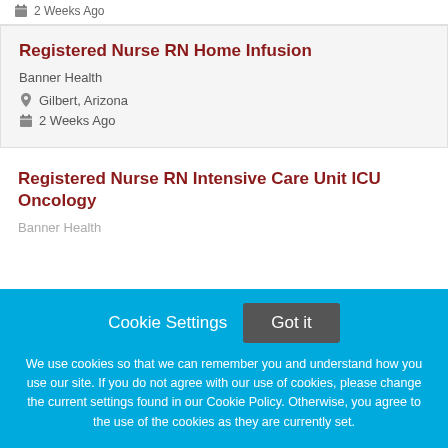2 Weeks Ago
Registered Nurse RN Home Infusion
Banner Health
Gilbert, Arizona
2 Weeks Ago
Registered Nurse RN Intensive Care Unit ICU Oncology
Banner Health
Cookie Settings  Got it
We use cookies so that we can remember you and understand how you use our site. If you do not agree with our use of cookies, please change the current settings found in our Cookie Policy. Otherwise, you agree to the use of the cookies as they are currently set.